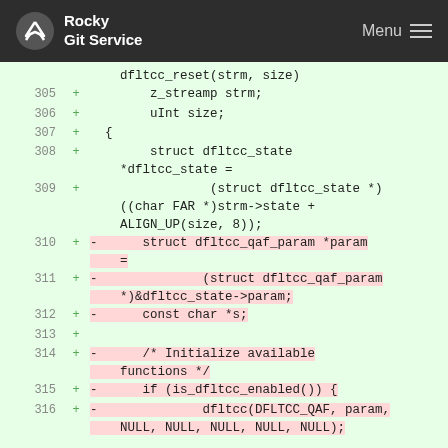Rocky Git Service   Menu
[Figure (screenshot): Git diff code view showing lines 305-316 of a C source file with added (+) lines, some with deleted (-) content highlighted in pink on a green background. Lines include dfltcc_reset function parameters and struct initializations.]